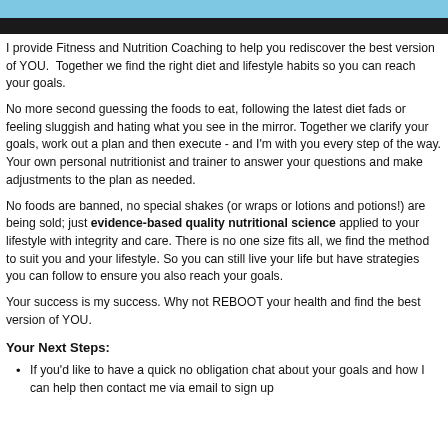I provide Fitness and Nutrition Coaching to help you rediscover the best version of YOU.  Together we find the right diet and lifestyle habits so you can reach your goals.
No more second guessing the foods to eat, following the latest diet fads or feeling sluggish and hating what you see in the mirror. Together we clarify your goals, work out a plan and then execute - and I'm with you every step of the way. Your own personal nutritionist and trainer to answer your questions and make adjustments to the plan as needed.
No foods are banned, no special shakes (or wraps or lotions and potions!) are being sold; just evidence-based quality nutritional science applied to your lifestyle with integrity and care. There is no one size fits all, we find the method to suit you and your lifestyle. So you can still live your life but have strategies you can follow to ensure you also reach your goals.
Your success is my success. Why not REBOOT your health and find the best version of YOU.
Your Next Steps:
If you'd like to have a quick no obligation chat about your goals and how I can help then contact me via email to sign up